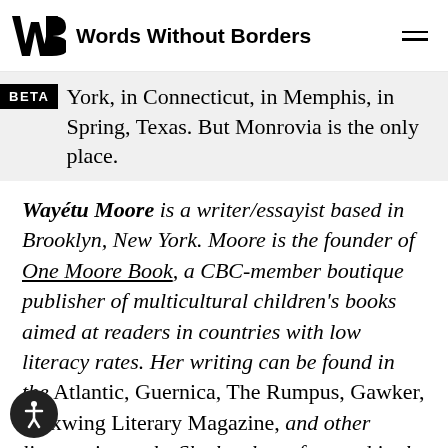Words Without Borders
York, in Connecticut, in Memphis, in Spring, Texas. But Monrovia is the only place.
Wayétu Moore is a writer/essayist based in Brooklyn, New York. Moore is the founder of One Moore Book, a CBC-member boutique publisher of multicultural children's books aimed at readers in countries with low literacy rates. Her writing can be found in the Atlantic, Guernica, The Rumpus, Gawker, Waxwing Literary Magazine, and other literary journals. She has been featured in the Economist, NPR, and BBC News, among others, for work in advocacy for diversity in children's literature. Her novel and memoir are forthcoming